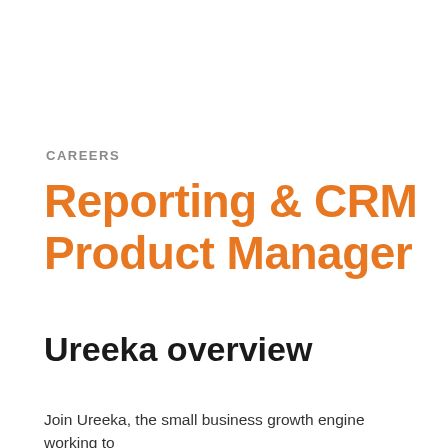CAREERS
Reporting & CRM Product Manager
Ureeka overview
Join Ureeka, the small business growth engine working to